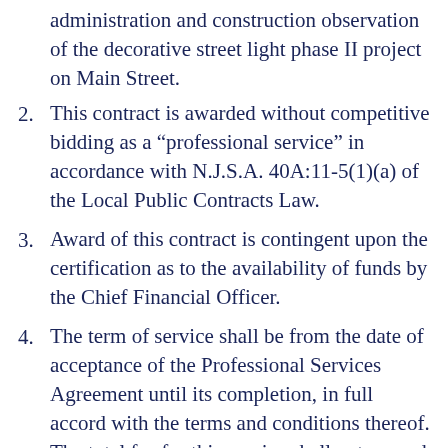(continuation) administration and construction observation of the decorative street light phase II project on Main Street.
2. This contract is awarded without competitive bidding as a “professional service” in accordance with N.J.S.A. 40A:11-5(1)(a) of the Local Public Contracts Law.
3. Award of this contract is contingent upon the certification as to the availability of funds by the Chief Financial Officer.
4. The term of service shall be from the date of acceptance of the Professional Services Agreement until its completion, in full accord with the terms and conditions thereof. The total fee for this service shall not exceed $21,500.00